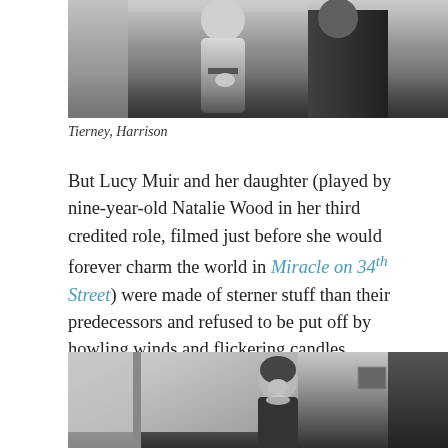[Figure (photo): Black and white film still showing two figures, partially cropped at top of page — Tierney and Harrison]
Tierney, Harrison
But Lucy Muir and her daughter (played by nine-year-old Natalie Wood in her third credited role, filmed just before she would forever charm the world in Miracle on 34th Street) were made of sterner stuff than their predecessors and refused to be put off by howling winds and flickering candles.
[Figure (photo): Black and white film still showing a young girl seated, looking downward — partially cropped at bottom of page]